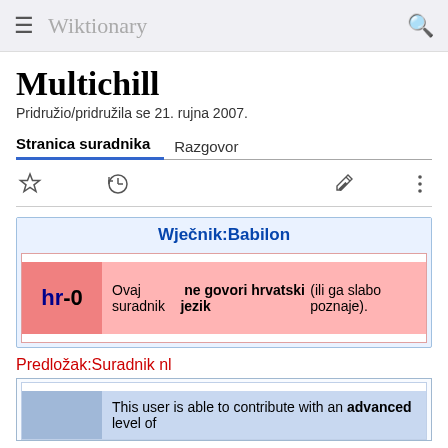Wiktionary
Multichill
Pridružio/pridružila se 21. rujna 2007.
Stranica suradnika   Razgovor
[Figure (screenshot): Toolbar icons: star (watch), history clock, pencil (edit), vertical dots (more)]
Wječnik:Babilon
hr-0 — Ovaj suradnik ne govori hrvatski jezik (ili ga slabo poznaje).
Predložak:Suradnik nl
This user is able to contribute with an advanced level of